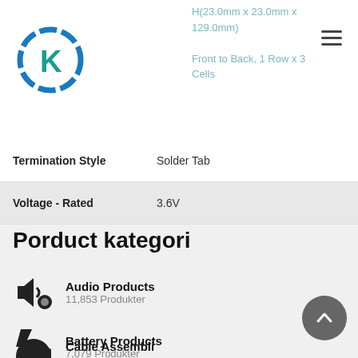[Figure (logo): Company logo with letter K in blue/teal circular design]
H(23.0mm x 23.0mm x 129.0mm)
Front to Back, 1 Row x 3 Cells
| Termination Style | Solder Tab |
| Voltage - Rated | 3.6V |
Porduct kategori
Audio Products
11,853 Produkter
Battery Products
7,079 Produkter
Boxes, Enclosures, Racks
35,884 Produkter
Cable Assembli...